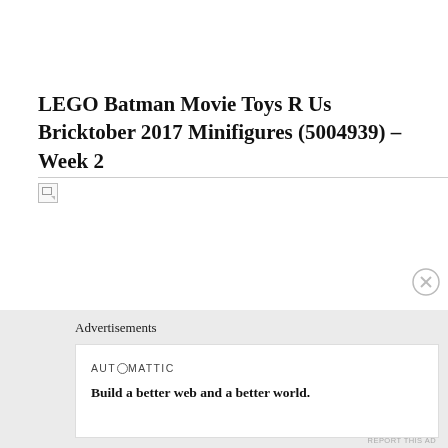LEGO Batman Movie Toys R Us Bricktober 2017 Minifigures (5004939) – Week 2
[Figure (photo): Broken/missing image placeholder below the title]
Advertisements
[Figure (logo): AUTOMATTIC logo with circle-O]
Build a better web and a better world.